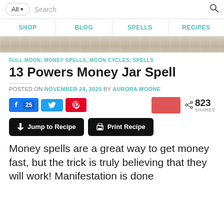All | Search
SHOP | BLOG | SPELLS | RECIPES
[Figure (photo): Rustic wooden surface hero image strip]
FULL MOON, MONEY SPELLS, MOON CYCLES, SPELLS
13 Powers Money Jar Spell
POSTED ON NOVEMBER 24, 2020 BY AURORA MOONE
[Figure (infographic): Social share buttons: Facebook 25, Twitter, Pinterest, red button, share count 823 SHARES]
[Figure (infographic): Jump to Recipe and Print Recipe buttons]
Money spells are a great way to get money fast, but the trick is truly believing that they will work! Manifestation is done